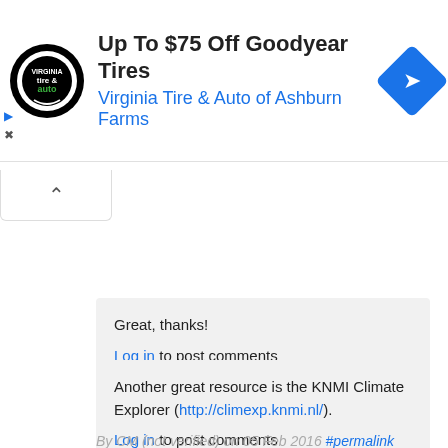[Figure (screenshot): Advertisement banner for Virginia Tire & Auto of Ashburn Farms with Goodyear Tires offer up to $75 off. Shows circular logo, ad title text, and blue diamond navigation icon.]
Great, thanks!
Log in to post comments
By John Baez (not verified) on 31 Jan 2016 #permalink
Another great resource is the KNMI Climate Explorer (http://climexp.knmi.nl/).
Log in to post comments
By CM (not verified) on 05 Feb 2016 #permalink